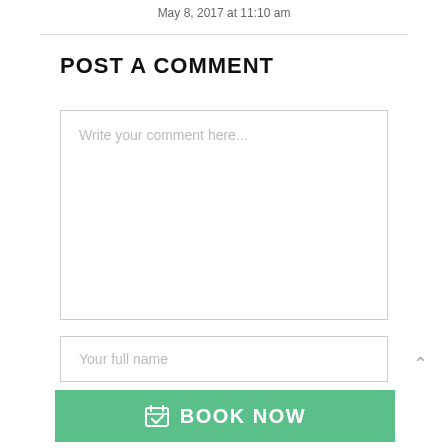May 8, 2017 at 11:10 am
POST A COMMENT
[Figure (other): Comment textarea input field with placeholder text 'Write your comment here...']
[Figure (other): Text input field with placeholder text 'Your full name']
[Figure (other): Green 'BOOK NOW' button with calendar/checkmark icon]